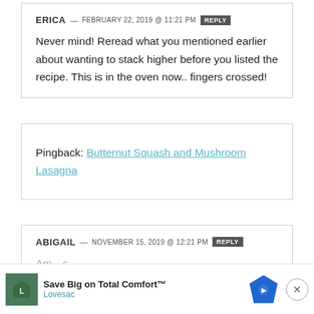ERICA — FEBRUARY 22, 2019 @ 11:21 PM  REPLY
Never mind! Reread what you mentioned earlier about wanting to stack higher before you listed the recipe. This is in the oven now.. fingers crossed!
Pingback: Butternut Squash and Mushroom Lasagna
ABIGAIL — NOVEMBER 15, 2019 @ 12:21 PM  REPLY
Am...s
Save Big on Total Comfort™  Lovesac